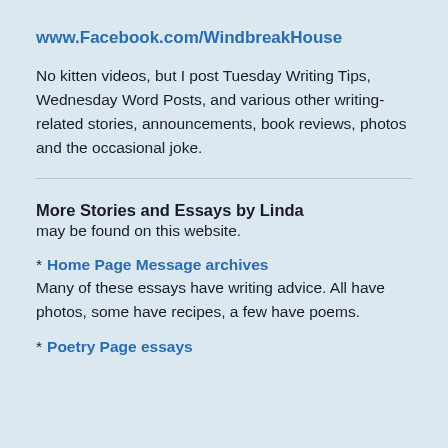www.Facebook.com/WindbreakHouse
No kitten videos, but I post Tuesday Writing Tips, Wednesday Word Posts, and various other writing-related stories, announcements, book reviews, photos and the occasional joke.
More Stories and Essays by Linda
may be found on this website.
* Home Page Message archives
Many of these essays have writing advice. All have photos, some have recipes, a few have poems.
* Poetry Page essays